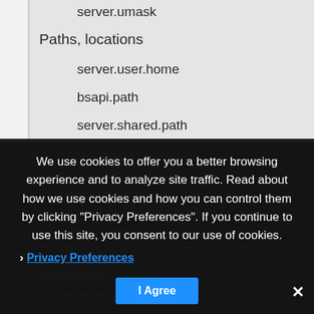server.umask
Paths, locations
server.user.home
bsapi.path
server.shared.path
technologies.configuration
server.license
Logging
server.logging.level
server.logging.destination
server.logging.file
server.logging.file.placeholder
server.logging.enable_async
server.logging.???
Initialization
server.require_all_configured_technologies
We use cookies to offer you a better browsing experience and to analyze site traffic. Read about how we use cookies and how you can control them by clicking "Privacy Preferences". If you continue to use this site, you consent to our use of cookies.
Privacy Preferences
I Agree